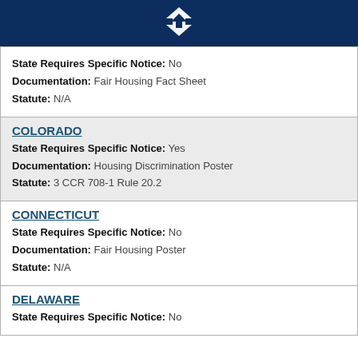State Requires Specific Notice: No
Documentation: Fair Housing Fact Sheet
Statute: N/A
COLORADO
State Requires Specific Notice: Yes
Documentation: Housing Discrimination Poster
Statute: 3 CCR 708-1 Rule 20.2
CONNECTICUT
State Requires Specific Notice: No
Documentation: Fair Housing Poster
Statute: N/A
DELAWARE
State Requires Specific Notice: No